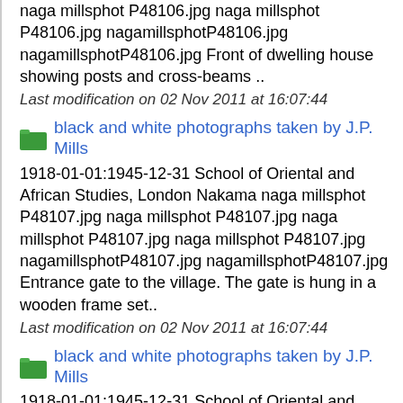naga millsphot P48106.jpg naga millsphot P48106.jpg nagamillsphotP48106.jpg nagamillsphotP48106.jpg Front of dwelling house showing posts and cross-beams ..
Last modification on 02 Nov 2011 at 16:07:44
black and white photographs taken by J.P. Mills
1918-01-01:1945-12-31 School of Oriental and African Studies, London Nakama naga millsphot P48107.jpg naga millsphot P48107.jpg naga millsphot P48107.jpg naga millsphot P48107.jpg nagamillsphotP48107.jpg nagamillsphotP48107.jpg Entrance gate to the village. The gate is hung in a wooden frame set..
Last modification on 02 Nov 2011 at 16:07:44
black and white photographs taken by J.P. Mills
1918-01-01:1945-12-31 School of Oriental and African Studies, London Pulomi naga millsphot P48108.jpg naga millsphot P48108.jpg naga